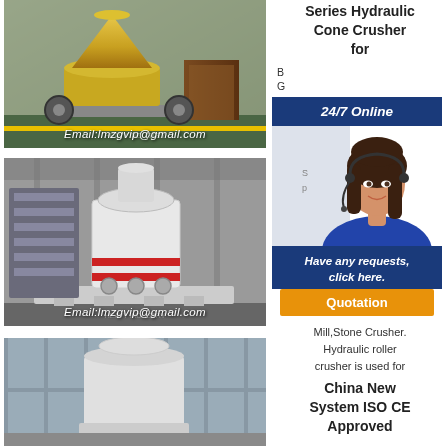[Figure (photo): Yellow hydraulic cone crusher machine in a factory/warehouse setting]
Email:lmzgvip@gmail.com
Series Hydraulic Cone Crusher for
[Figure (photo): 24/7 Online chat widget with female agent wearing headset, blue background, 'Have any requests, click here.' and 'Quotation' orange button]
[Figure (photo): White vertical sand crusher / VSI machine in industrial factory]
Email:lmzgvip@gmail.com
Mill,Stone Crusher. Hydraulic roller crusher is used for
China New System ISO CE Approved
[Figure (photo): Cylindrical industrial mill/crusher machine in factory]